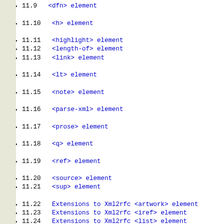11.9   <a href="#ext.element.dfn">&lt;dfn&gt; element</a>
11.10   <a href="#ext.element.h">&lt;h&gt; element</a>
11.11   <a href="#ext.element.highlight">&lt;highlight&gt; element</a>
11.12   <a href="#ext.element.length-of">&lt;length-of&gt; element</a>
11.13   <a href="#ext.element.link">&lt;link&gt; element</a>
11.14   <a href="#ext.element.lt">&lt;lt&gt; element</a>
11.15   <a href="#ext.element.note">&lt;note&gt; element</a>
11.16   <a href="#ext.element.parse-xml">&lt;parse-xml&gt; element</a>
11.17   <a href="#ext.element.prose">&lt;prose&gt; element</a>
11.18   <a href="#ext.element.q">&lt;q&gt; element</a>
11.19   <a href="#ext.element.ref">&lt;ref&gt; element</a>
11.20   <a href="#ext.element.source">&lt;source&gt; element</a>
11.21   <a href="#ext.element.sup">&lt;sup&gt; element</a>
11.22   <a href="#ext-rfc2629.artwork">Extensions to Xml2rfc &lt;artwork&gt; element</a>
11.23   <a href="#ext-rfc2629.iref">Extensions to Xml2rfc &lt;iref&gt; element</a>
11.24   <a href="#ext-rfc2629.list">Extensions to Xml2rfc &lt;list&gt; element</a>
11.25   <a href="#ext-rfc2629.rfc">Extensions to Xml2rfc &lt;rfc&gt; element</a>
11.26   <a href="#ext-rfc2629.section">Extensions to Xml2rfc &lt;section&gt; element</a>
11.27   <a href="#ext...